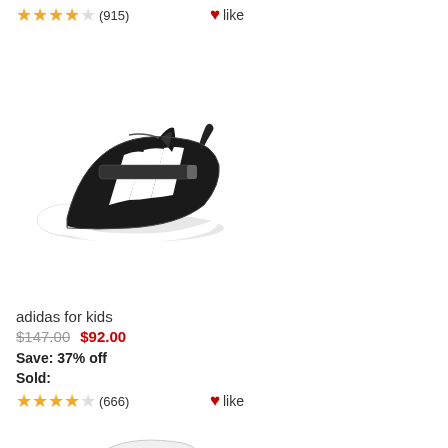★★★★☆ (915) ♥like
[Figure (photo): Black and white Adidas kids sneaker with velcro strap and three white stripes]
adidas for kids
$147.00  $92.00
Save: 37% off
Sold:
★★★★☆ (666) ♥like
[Figure (photo): White Adidas kids sneaker with velcro strap, all white colorway]